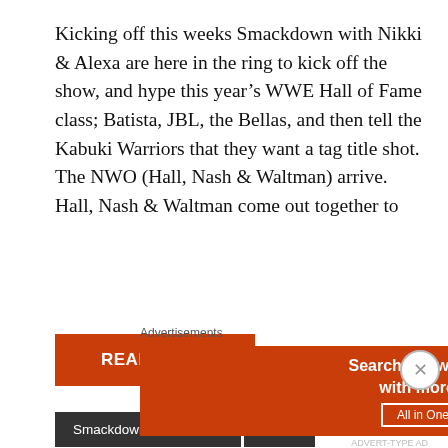Kicking off this weeks Smackdown with Nikki & Alexa are here in the ring to kick off the show, and hype this year’s WWE Hall of Fame class; Batista, JBL, the Bellas, and then tell the Kabuki Warriors that they want a tag title shot. The NWO (Hall, Nash & Waltman) arrive. Hall, Nash & Waltman come out together to
READ MORE
Smackdown Live Review
WWE
WWE FRIDAY NIGHT SMACKDOWN REVIEW (FEB 28TH) (BOSTON
Advertisements
[Figure (screenshot): DuckDuckGo advertisement banner: 'Search, browse, and email with more privacy. All in One Free App' with DuckDuckGo logo on dark/orange background]